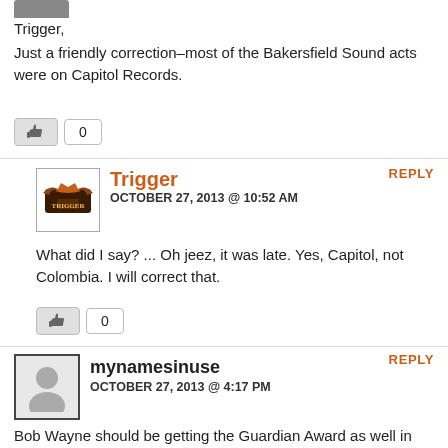[Figure (other): Partially visible avatar image at top]
Trigger,
Just a friendly correction–most of the Bakersfield Sound acts were on Capitol Records.
[Figure (other): Like button with thumbs up icon and count 0]
REPLY
[Figure (other): Trigger avatar with wings logo]
Trigger
OCTOBER 27, 2013 @ 10:52 AM
What did I say? ... Oh jeez, it was late. Yes, Capitol, not Colombia. I will correct that.
[Figure (other): Like button with thumbs up icon and count 0]
REPLY
[Figure (other): Generic user avatar silhouette]
mynamesinuse
OCTOBER 27, 2013 @ 4:17 PM
Bob Wayne should be getting the Guardian Award as well in my opinion.
[Figure (other): Like button with thumbs up icon and count 0]